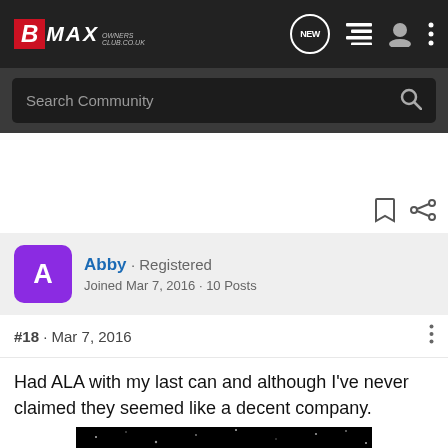BMAX OWNERS CLUB - navigation bar with Search Community
#18 · Mar 7, 2016
Abby · Registered
Joined Mar 7, 2016 · 10 Posts
Had ALA with my last can and although I've never claimed they seemed like a decent company.
[Figure (screenshot): Black banner advertisement showing www.au-av.com in large white bold text on a starfield background]